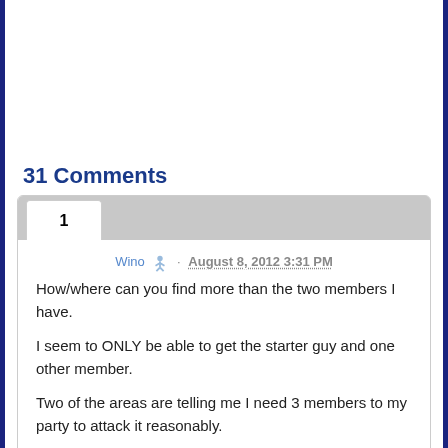31 Comments
Wino · August 8, 2012 3:31 PM
How/where can you find more than the two members I have.

I seem to ONLY be able to get the starter guy and one other member.

Two of the areas are telling me I need 3 members to my party to attack it reasonably.

Anyone???